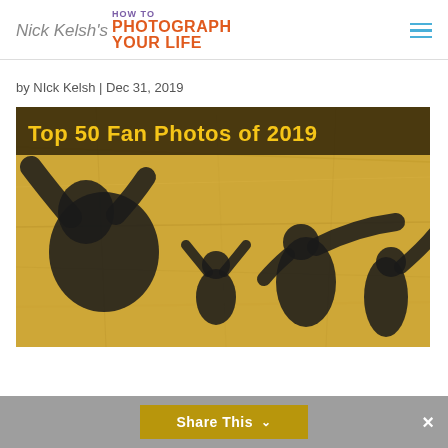Nick Kelsh's HOW TO PHOTOGRAPH YOUR LIFE
by NIck Kelsh | Dec 31, 2019
[Figure (photo): Top 50 Fan Photos of 2019 banner image with silhouettes of people dancing/posing on a golden/yellow crinkled paper background. Dark banner at top reads 'Top 50 Fan Photos of 2019' in yellow bold text.]
Share This